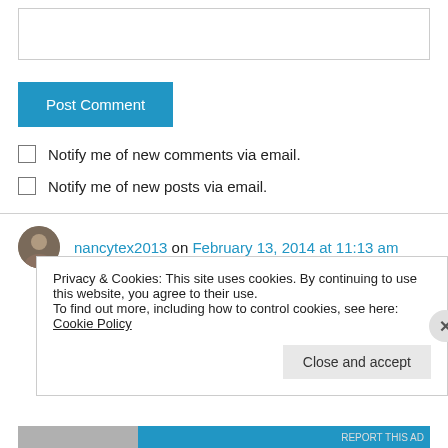[Figure (screenshot): Empty textarea input box for comment]
[Figure (screenshot): Blue 'Post Comment' button]
Notify me of new comments via email.
Notify me of new posts via email.
nancytex2013 on February 13, 2014 at 11:13 am
Privacy & Cookies: This site uses cookies. By continuing to use this website, you agree to their use.
To find out more, including how to control cookies, see here: Cookie Policy
Close and accept